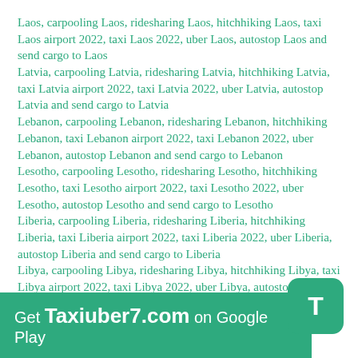Laos, carpooling Laos, ridesharing Laos, hitchhiking Laos, taxi Laos airport 2022, taxi Laos 2022, uber Laos, autostop Laos and send cargo to Laos
Latvia, carpooling Latvia, ridesharing Latvia, hitchhiking Latvia, taxi Latvia airport 2022, taxi Latvia 2022, uber Latvia, autostop Latvia and send cargo to Latvia
Lebanon, carpooling Lebanon, ridesharing Lebanon, hitchhiking Lebanon, taxi Lebanon airport 2022, taxi Lebanon 2022, uber Lebanon, autostop Lebanon and send cargo to Lebanon
Lesotho, carpooling Lesotho, ridesharing Lesotho, hitchhiking Lesotho, taxi Lesotho airport 2022, taxi Lesotho 2022, uber Lesotho, autostop Lesotho and send cargo to Lesotho
Liberia, carpooling Liberia, ridesharing Liberia, hitchhiking Liberia, taxi Liberia airport 2022, taxi Liberia 2022, uber Liberia, autostop Liberia and send cargo to Liberia
Libya, carpooling Libya, ridesharing Libya, hitchhiking Libya, taxi Libya airport 2022, taxi Libya 2022, uber Libya, autostop Libya and send cargo to
Lithuania, carpooling Lithuania, ridesharing Lithuania,
Get Taxiuber7.com on Google Play